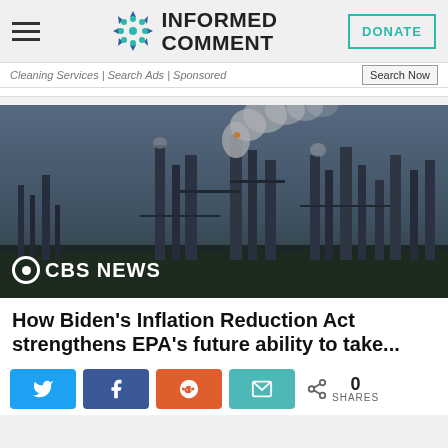INFORMED COMMENT
Cleaning Services | Search Ads | Sponsored
[Figure (photo): Industrial oil refinery with smokestacks emitting smoke, CBS News watermark in lower left corner]
How Biden's Inflation Reduction Act strengthens EPA's future ability to take...
0 SHARES